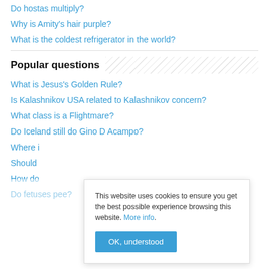Do hostas multiply?
Why is Amity's hair purple?
What is the coldest refrigerator in the world?
Popular questions
What is Jesus's Golden Rule?
Is Kalashnikov USA related to Kalashnikov concern?
What class is a Flightmare?
Do Iceland still do Gino D Acampo?
Where i…
Should…
How do…
Do fetuses pee?
This website uses cookies to ensure you get the best possible experience browsing this website. More info.
OK, understood